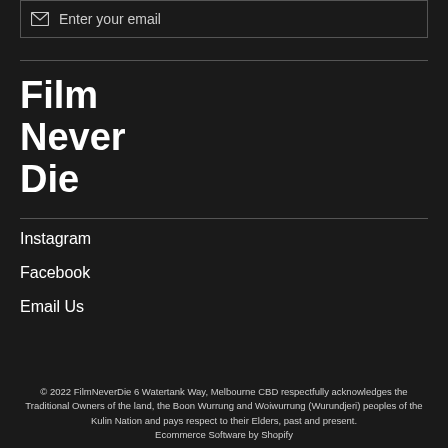Enter your email
Film
Never
Die
Instagram
Facebook
Email Us
© 2022 FilmNeverDie 6 Watertank Way, Melbourne CBD respectfully acknowledges the Traditional Owners of the land, the Boon Wurrung and Woiwurrung (Wurundjeri) peoples of the Kulin Nation and pays respect to their Elders, past and present. Ecommerce Software by Shopify